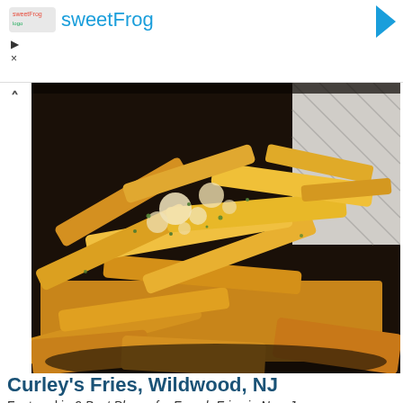sweetFrog
[Figure (photo): Close-up photo of seasoned French fries with parmesan cheese and herbs in a dark bowl, white geometric patterned background]
Curley's Fries, Wildwood, NJ
Featured in 9 Best Places for French Fries in New Jersey
At first glance, they might not look extraordinary, but